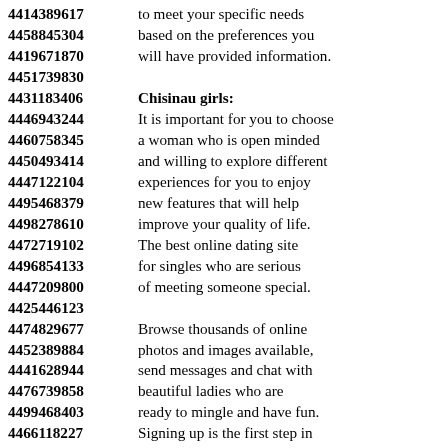4414389617 to meet your specific needs
4458845304 based on the preferences you
4419671870 will have provided information.
4451739830
4431183406 Chisinau girls:
4446943244 It is important for you to choose
4460758345 a woman who is open minded
4450493414 and willing to explore different
4447122104 experiences for you to enjoy
4495468379 new features that will help
4498278610 improve your quality of life.
4472719102 The best online dating site
4496854133 for singles who are serious
4447209800 of meeting someone special.
4425446123
4474829677 Browse thousands of online
4452389884 photos and images available,
4441628944 send messages and chat with
4476739858 beautiful ladies who are
4499468403 ready to mingle and have fun.
4466118227 Signing up is the first step in
4432253217 finding your next relationship!
4498292973 Find out how to start the
4480646609 dating with the help of a
4444285140 couple of marriage proposals!
4489785221 ...